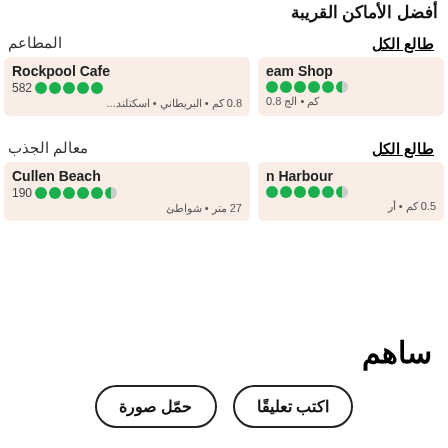أفضل الأماكن القريبة
المطاعم
طالع الكل
Rockpool Cafe
582 ●●●●●
0.8 كم • البريطاني • اسكتلند...
eam Shop
●●●●●◑
0.8 كم • الج
معالم الجذب
طالع الكل
Cullen Beach
190 ●●●●●◑
27 متر • شواطئ
n Harbour
●●●●●◑
0.5 كم • أر
ساهم
اكتب تعليقًا
حمّل صورة